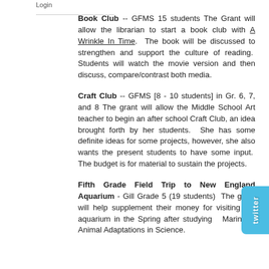Login
Book Club -- GFMS 15 students The Grant will allow the librarian to start a book club with A Wrinkle In Time. The book will be discussed to strengthen and support the culture of reading. Students will watch the movie version and then discuss, compare/contrast both media.
Craft Club -- GFMS [8 - 10 students] in Gr. 6, 7, and 8 The grant will allow the Middle School Art teacher to begin an after school Craft Club, an idea brought forth by her students. She has some definite ideas for some projects, however, she also wants the present students to have some input. The budget is for material to sustain the projects.
Fifth Grade Field Trip to New England Aquarium - Gill Grade 5 (19 students) The grant will help supplement their money for visiting the aquarium in the Spring after studying Marine Animal Adaptations in Science.